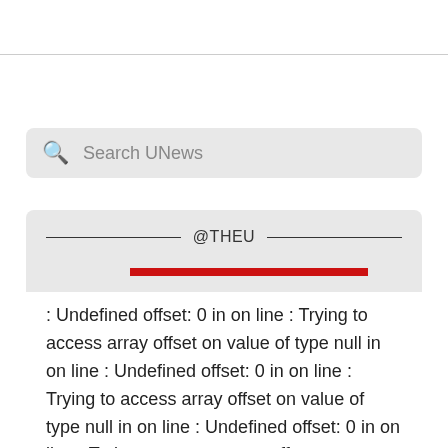[Figure (screenshot): Search bar with magnifying glass icon and placeholder text 'Search UNews' on a light grey rounded background]
@THEU
: Undefined offset: 0 in on line : Trying to access array offset on value of type null in on line : Undefined offset: 0 in on line : Trying to access array offset on value of type null in on line : Undefined offset: 0 in on line : Trying to access array offset on